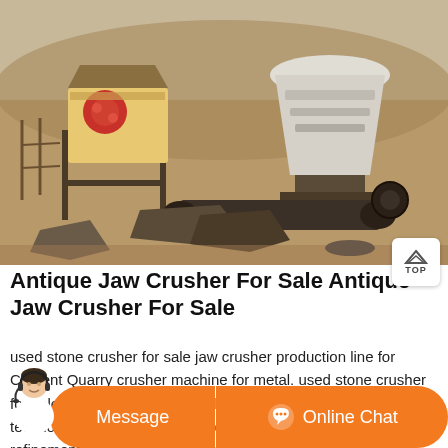[Figure (photo): Outdoor mining/quarry site with jaw crusher machine on the left (red/yellow) and a cone crusher on the right (white/grey), on dry sandy terrain with rocks and equipment in the foreground.]
Antique Jaw Crusher For Sale Antique Jaw Crusher For Sale
used stone crusher for sale jaw crusher production line for Cement Quarry crusher machine for metal. used stone crusher for sale jaw crusher series are based on years experience and technology development.The continuous improvement and refinement have made them the preferred